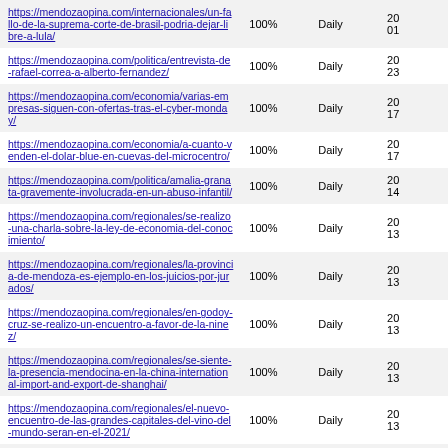| URL | Priority | Change Freq | Last Modified |
| --- | --- | --- | --- |
| https://mendozaopina.com/internacionales/un-fallo-de-la-suprema-corte-de-brasil-podria-dejar-libre-a-lula/ | 100% | Daily | 20...01 |
| https://mendozaopina.com/politica/entrevista-de-rafael-correa-a-alberto-fernandez/ | 100% | Daily | 20...23 |
| https://mendozaopina.com/economia/varias-empresas-siguen-con-ofertas-tras-el-cyber-monday/ | 100% | Daily | 20...17 |
| https://mendozaopina.com/economia/a-cuanto-venden-el-dolar-blue-en-cuevas-del-microcentro/ | 100% | Daily | 20...17 |
| https://mendozaopina.com/politica/amalia-granata-gravemente-involucrada-en-un-abuso-infantil/ | 100% | Daily | 20...14 |
| https://mendozaopina.com/regionales/se-realizo-una-charla-sobre-la-ley-de-economia-del-conocimiento/ | 100% | Daily | 20...13 |
| https://mendozaopina.com/regionales/la-provincia-de-mendoza-es-ejemplo-en-los-juicios-por-jurados/ | 100% | Daily | 20...13 |
| https://mendozaopina.com/regionales/en-godoy-cruz-se-realizo-un-encuentro-a-favor-de-la-ninez/ | 100% | Daily | 20...13 |
| https://mendozaopina.com/regionales/se-siente-la-presencia-mendocina-en-la-china-international-import-and-export-de-shanghai/ | 100% | Daily | 20...13 |
| https://mendozaopina.com/regionales/el-nuevo-encuentro-de-las-grandes-capitales-del-vino-del-mundo-seran-en-el-2021/ | 100% | Daily | 20...13 |
| https://mendozaopina.com/sociedad/el-mendocino-orlando-orly-terranova-dueno-de-mdz-investigado-por-la-justicia/ | 100% | Daily | 20...01 |
| https://mendozaopina.com/politica/pobreza-exclusion-... | 100% | Daily |  |